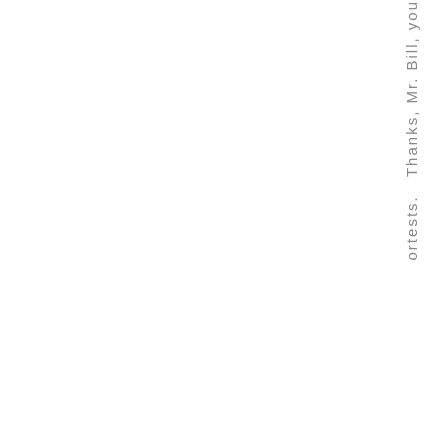ortests. Thanks, Mr. Bill, you